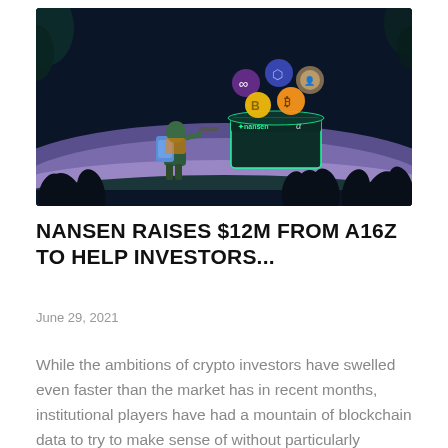[Figure (illustration): Dark-themed illustration showing a person with a backpack and telescope looking at a glowing open box containing crypto currency icons (Chainlink, Ethereum, NFT avatar, Binance, Bitcoin) floating above it, set against a dark background with purple/teal hills and black leaf shapes. The box displays the Nansen logo and alpha symbol.]
NANSEN RAISES $12M FROM A16Z TO HELP INVESTORS...
June 29, 2021
While the ambitions of crypto investors have swelled even faster than the market has in recent months, institutional players have had a mountain of blockchain data to try to make sense of without particularly mature...